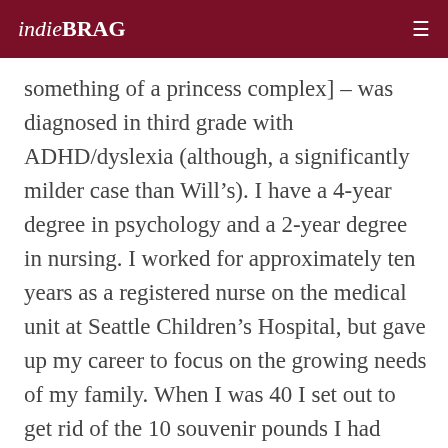indieBRAG
something of a princess complex] – was diagnosed in third grade with ADHD/dyslexia (although, a significantly milder case than Will's). I have a 4-year degree in psychology and a 2-year degree in nursing. I worked for approximately ten years as a registered nurse on the medical unit at Seattle Children's Hospital, but gave up my career to focus on the growing needs of my family. When I was 40 I set out to get rid of the 10 souvenir pounds I had collected from each of my four pregnancies. In the process, I found my inner jock, and I now love to